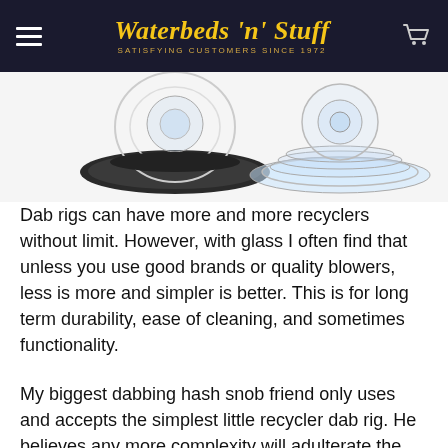Waterbeds 'n' Stuff — SATISFYING CUSTOMERS SINCE 1972
[Figure (photo): Two glass dab rig recyclers side by side on a white background — one with a dark base on the left and a clear glass base on the right.]
Dab rigs can have more and more recyclers without limit. However, with glass I often find that unless you use good brands or quality blowers, less is more and simpler is better. This is for long term durability, ease of cleaning, and sometimes functionality.
My biggest dabbing hash snob friend only uses and accepts the simplest little recycler dab rig. He believes any more complexity will adulterate the delicious flavor. To each his own!
The other major objective that has guided the